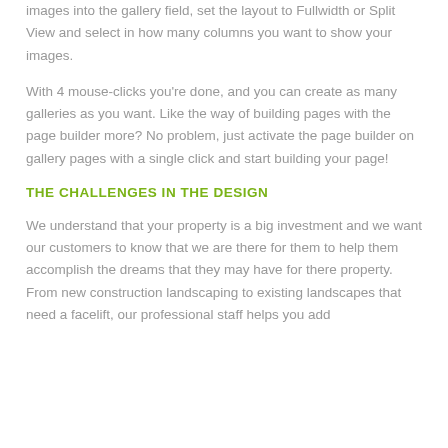images into the gallery field, set the layout to Fullwidth or Split View and select in how many columns you want to show your images.
With 4 mouse-clicks you're done, and you can create as many galleries as you want. Like the way of building pages with the page builder more? No problem, just activate the page builder on gallery pages with a single click and start building your page!
THE CHALLENGES IN THE DESIGN
We understand that your property is a big investment and we want our customers to know that we are there for them to help them accomplish the dreams that they may have for there property. From new construction landscaping to existing landscapes that need a facelift, our professional staff helps you add